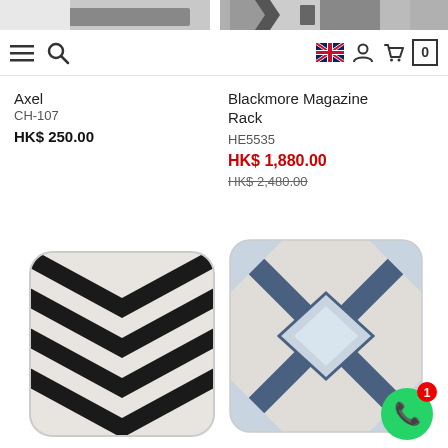[Figure (screenshot): Top partial product images strip showing cropped furniture/product photos]
[Figure (screenshot): Navigation bar with hamburger menu, search icon, UK flag, user icon, cart icon, and cart count 0]
Axel
CH-107
HK$ 250.00
Blackmore Magazine Rack
HE5535
HK$ 1,880.00
HK$ 2,480.00
[Figure (photo): Square cushion/pillow with black and white chevron zigzag pattern]
[Figure (photo): Square cushion/pillow with blue and white geometric diamond/rhombus pattern]
[Figure (illustration): WhatsApp chat button (green circle with phone icon) with red notification badge showing 1]